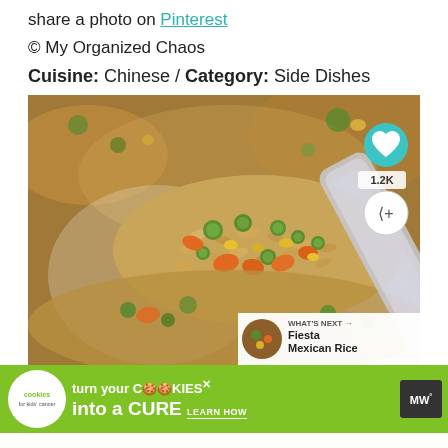share a photo on Pinterest
© My Organized Chaos
Cuisine: Chinese / Category: Side Dishes
[Figure (photo): Close-up photo of fried rice with peas, carrots and vegetables on a fork/spoon, with a heart button showing 1.2K and a share button, and a 'What's Next: Fiesta Mexican Rice' overlay in the bottom right corner]
[Figure (infographic): Advertisement banner for cookies for kids cancer: 'turn your COOKIES into a CURE LEARN HOW']